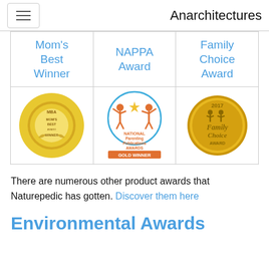Anarchitectures
| Mom's Best Winner | NAPPA Award | Family Choice Award |
| --- | --- | --- |
| [Mom's Best Winner badge] | [NAPPA Gold Winner badge] | [Family Choice Award badge] |
There are numerous other product awards that Naturepedic has gotten. Discover them here
Environmental Awards